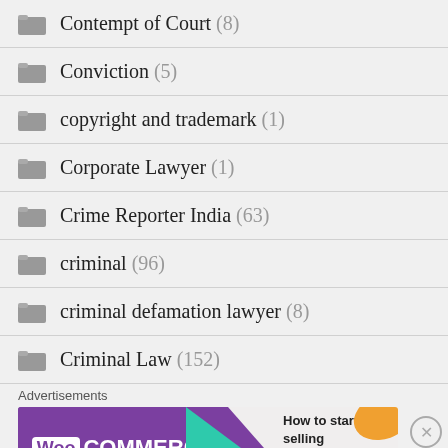Contempt of Court (8)
Conviction (5)
copyright and trademark (1)
Corporate Lawyer (1)
Crime Reporter India (63)
criminal (96)
criminal defamation lawyer (8)
Criminal Law (152)
[Figure (screenshot): WooCommerce advertisement banner saying 'How to start selling subscriptions online']